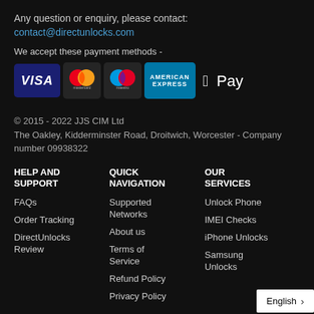Any question or enquiry, please contact:
contact@directunlocks.com
We accept these payment methods -
[Figure (infographic): Payment method logos: VISA, Mastercard, Maestro, American Express, Apple Pay]
© 2015 - 2022 JJS CIM Ltd
The Oakley, Kidderminster Road, Droitwich, Worcester - Company number 09938322
HELP AND SUPPORT
FAQs
Order Tracking
DirectUnlocks Review
QUICK NAVIGATION
Supported Networks
About us
Terms of Service
Refund Policy
Privacy Policy
OUR SERVICES
Unlock Phone
IMEI Checks
iPhone Unlocks
Samsung Unlocks
English